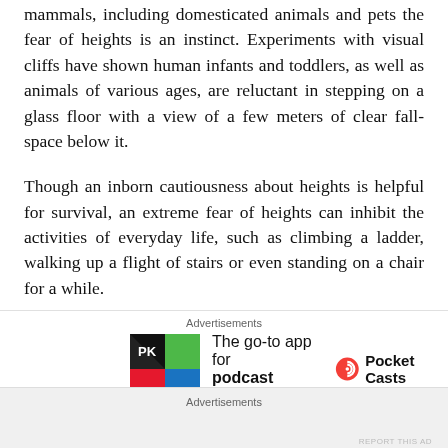mammals, including domesticated animals and pets the fear of heights is an instinct. Experiments with visual cliffs have shown human infants and toddlers, as well as animals of various ages, are reluctant in stepping on a glass floor with a view of a few meters of clear fall-space below it.
Though an inborn cautiousness about heights is helpful for survival, an extreme fear of heights can inhibit the activities of everyday life, such as climbing a ladder, walking up a flight of stairs or even standing on a chair for a while.
[Figure (screenshot): Advertisement banner for Pocket Casts podcast app showing colorful logo and text 'The go-to app for podcast lovers.' with Pocket Casts logo]
Here is a video that illustrates the “fear of falling”.
[Figure (screenshot): Bottom advertisement bar with 'Advertisements' label on grey background]